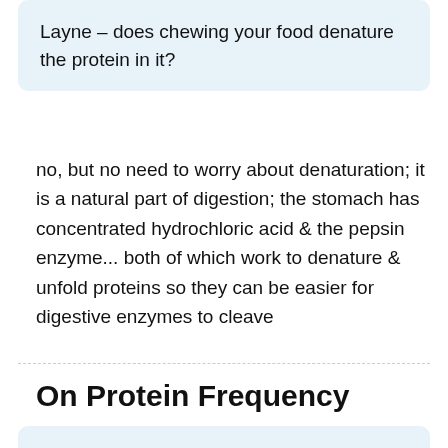Layne – does chewing your food denature the protein in it?
no, but no need to worry about denaturation; it is a natural part of digestion; the stomach has concentrated hydrochloric acid & the pepsin enzyme... both of which work to denature & unfold proteins so they can be easier for digestive enzymes to cleave
On Protein Frequency